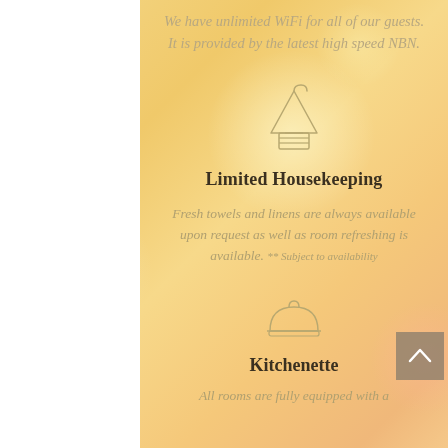We have unlimited WiFi for all of our guests. It is provided by the latest high speed NBN.
[Figure (illustration): Icon of a towel hanging on a hanger (housekeeping icon)]
Limited Housekeeping
Fresh towels and linens are always available upon request as well as room refreshing is available. ** Subject to availability
[Figure (illustration): Icon of a cloche/serving dome (kitchenette icon)]
Kitchenette
All rooms are fully equipped with a